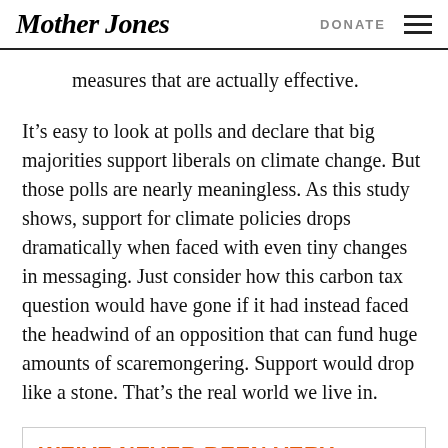Mother Jones | DONATE
measures that are actually effective.
It’s easy to look at polls and declare that big majorities support liberals on climate change. But those polls are nearly meaningless. As this study shows, support for climate policies drops dramatically when faced with even tiny changes in messaging. Just consider how this carbon tax question would have gone if it had instead faced the headwind of an opposition that can fund huge amounts of scaremongering. Support would drop like a stone. That’s the real world we live in.
WE’VE NEVER BEEN VERY GOOD AT